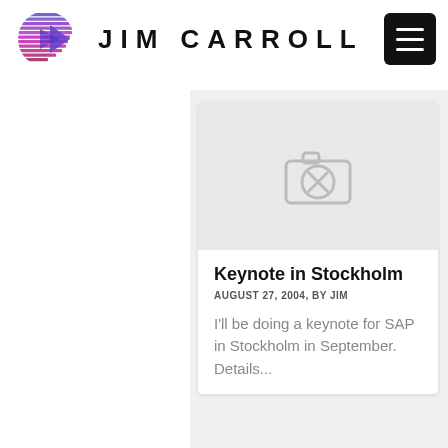[Figure (logo): Jim Carroll website logo — purple/blue globe with horizontal lines and arrow, followed by 'JIM CARROLL' text in bold caps, and a black hamburger menu button]
[Figure (photo): Broken image placeholder icon (camera with X) on light grey background]
Keynote in Stockholm
AUGUST 27, 2004, BY JIM
I'll be doing a keynote for SAP in Stockholm in September. Details...